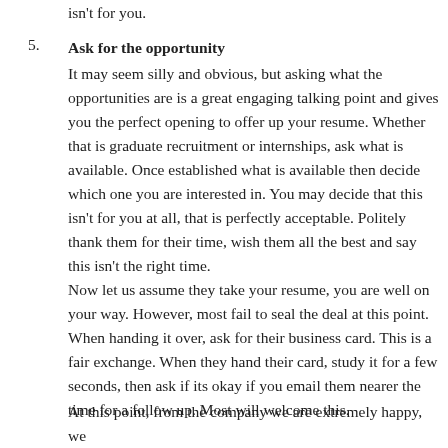isn't for you.
5. Ask for the opportunity
It may seem silly and obvious, but asking what the opportunities are is a great engaging talking point and gives you the perfect opening to offer up your resume. Whether that is graduate recruitment or internships, ask what is available.  Once established what is available then decide which one you are interested in.  You may decide that this isn't for you at all, that is perfectly acceptable. Politely thank them for their time, wish them all the best and say this isn't the right time.
Now let us assume they take your resume, you are well on your way. However, most fail to seal the deal at this point.  When handing it over, ask for their business card.  This is a fair exchange.  When they hand their card, study it for a few seconds, then ask if its okay if you email them nearer the time for a follow up.  Most will welcome this.
At this point, from the company we are extremely happy, we